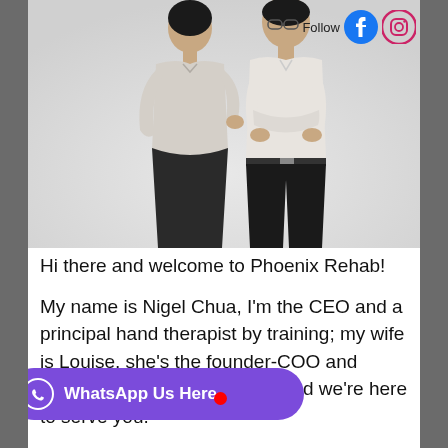[Figure (photo): Photo of two people (a woman in light grey top and a man with crossed arms in white shirt) smiling, with Facebook and Instagram follow icons in top right corner]
Hi there and welcome to Phoenix Rehab!
My name is Nigel Chua, I'm the CEO and a principal hand therapist by training; my wife is Louise, she's the founder-COO and [occupational therapist] of Phoenix Rehab and we're here to serve you.